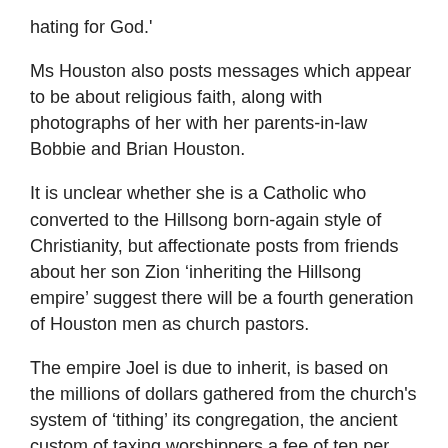hating for God.'
Ms Houston also posts messages which appear to be about religious faith, along with photographs of her with her parents-in-law Bobbie and Brian Houston.
It is unclear whether she is a Catholic who converted to the Hillsong born-again style of Christianity, but affectionate posts from friends about her son Zion ‘inheriting the Hillsong empire’ suggest there will be a fourth generation of Houston men as church pastors.
The empire Joel is due to inherit, is based on the millions of dollars gathered from the church’s system of ‘tithing’ its congregation, the ancient custom of taxing worshippers a fee of ten per cent of their income.